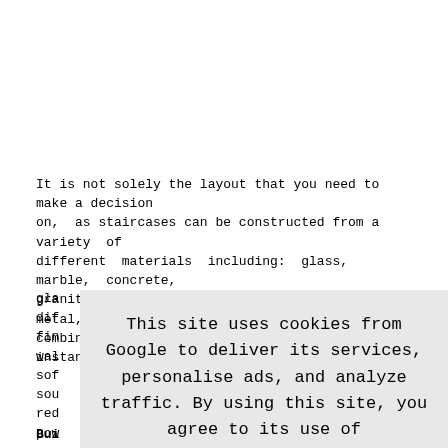It is not solely the layout that you need to make a decision on, as staircases can be constructed from a variety of different materials including: glass, marble, concrete, granite, stone, hardwood, softwood and metal, as well as combining any of these materials, for instance steel and gla... dif... fin... wal... sof... sou... redu... pow...
This site uses cookies from Google to deliver its services, personalise ads, and analyze traffic. By using this site, you agree to its use of cookies. Learn More  I Agree
Bui... poi... tha... reg... Bui... sta... access and use of buildings). These regulations apply to